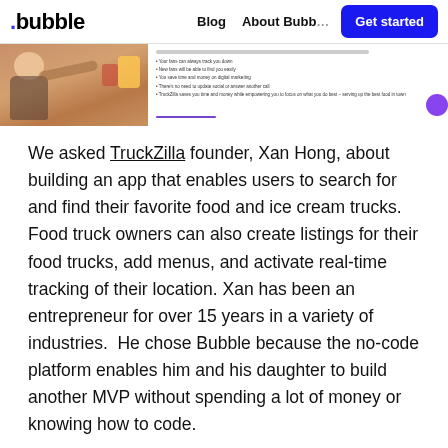.bubble | Blog | About Bubble | Get started
[Figure (screenshot): Screenshot strip showing a food truck app interface with a photo of a woman handing food to a child, and bullet point text on the right side]
We asked TruckZilla founder, Xan Hong, about building an app that enables users to search for and find their favorite food and ice cream trucks. Food truck owners can also create listings for their food trucks, add menus, and activate real-time tracking of their location. Xan has been an entrepreneur for over 15 years in a variety of industries. He chose Bubble because the no-code platform enables him and his daughter to build another MVP without spending a lot of money or knowing how to code.